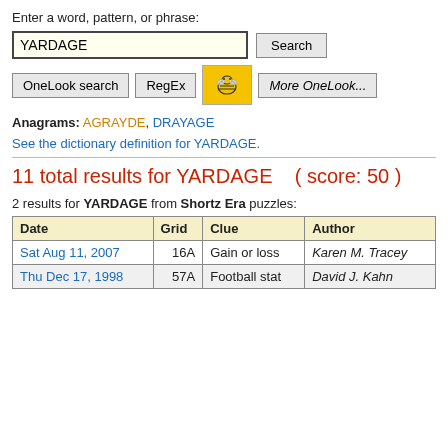Enter a word, pattern, or phrase:
YARDAGE [search input]
OneLook search | RegEx | [bee icon] | More OneLook...
Anagrams: AGRAYDE, DRAYAGE
See the dictionary definition for YARDAGE.
11 total results for YARDAGE   ( score: 50 )
2 results for YARDAGE from Shortz Era puzzles:
| Date | Grid | Clue | Author |
| --- | --- | --- | --- |
| Sat Aug 11, 2007 | 16A | Gain or loss | Karen M. Tracey |
| Thu Dec 17, 1998 | 57A | Football stat | David J. Kahn |